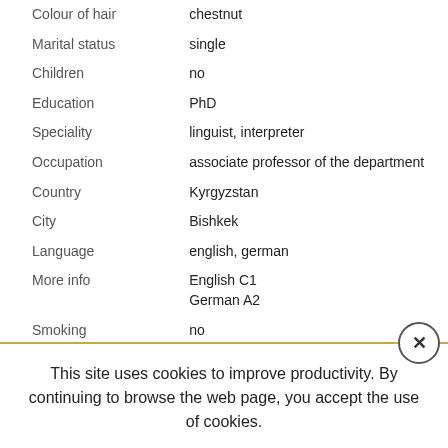| Field | Value |
| --- | --- |
| Colour of hair | chestnut |
| Marital status | single |
| Children | no |
| Education | PhD |
| Speciality | linguist, interpreter |
| Occupation | associate professor of the department |
| Country | Kyrgyzstan |
| City | Bishkek |
| Language | english, german |
| More info | English C1
German A2 |
| Smoking | no |
| Driving licence | no |
| Character | feminine, soft, compassionate, calm |
This site uses cookies to improve productivity. By continuing to browse the web page, you accept the use of cookies.